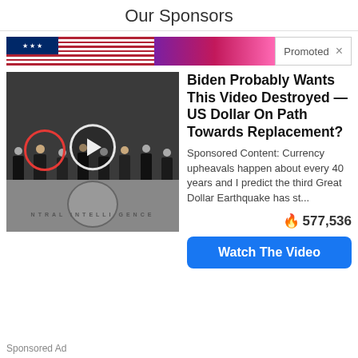Our Sponsors
[Figure (screenshot): Promoted banner ad strip with American flag pattern on left and pink/purple gradient on right, with 'Promoted X' label]
[Figure (photo): Group of men in suits standing in CIA headquarters lobby with eagle seal on floor; one man circled in red on left; play button circle overlay in center]
Biden Probably Wants This Video Destroyed — US Dollar On Path Towards Replacement?
Sponsored Content: Currency upheavals happen about every 40 years and I predict the third Great Dollar Earthquake has st...
🔥 577,536
Watch The Video
Sponsored Ad